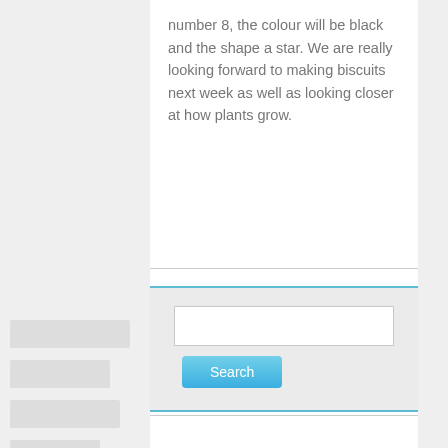number 8, the colour will be black and the shape a star. We are really looking forward to making biscuits next week as well as looking closer at how plants grow.
[Figure (screenshot): A search widget with a text input field and a blue Search button, bordered top and bottom with teal/blue lines on a light gray background.]